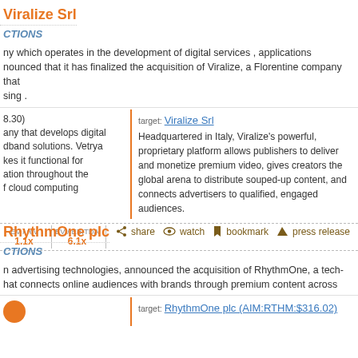Viralize Srl
CTIONS
ny which operates in the development of digital services , applications
nounced that it has finalized the acquisition of Viralize, a Florentine company that
sing .
8.30)
any that develops digital
dband solutions. Vetrya
kes it functional for
ation throughout the
f cloud computing
target: Viralize Srl
Headquartered in Italy, Viralize's powerful, proprietary platform allows publishers to deliver and monetize premium video, gives creators the global arena to distribute souped-up content, and connects advertisers to qualified, engaged audiences.
EV / rev 1.1x | EV / EBITDA 6.1x | share | watch | bookmark | press release
RhythmOne plc
CTIONS
n advertising technologies, announced the acquisition of RhythmOne, a tech-
hat connects online audiences with brands through premium content across
target: RhythmOne plc (AIM:RTHM:$316.02)